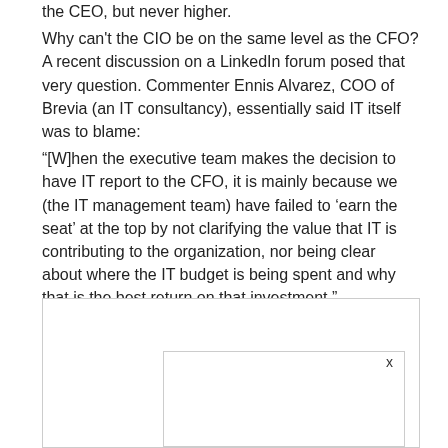the CEO, but never higher.
Why can't the CIO be on the same level as the CFO? A recent discussion on a LinkedIn forum posed that very question. Commenter Ennis Alvarez, COO of Brevia (an IT consultancy), essentially said IT itself was to blame:
“[W]hen the executive team makes the decision to have IT report to the CFO, it is mainly because we (the IT management team) have failed to ‘earn the seat’ at the top by not clarifying the value that IT is contributing to the organization, nor being clear about where the IT budget is being spent and why that is the best return on that investment.”
[Figure (other): A bordered box area with an inner bordered rectangle and a close (x) button, likely a UI overlay or advertisement placeholder.]